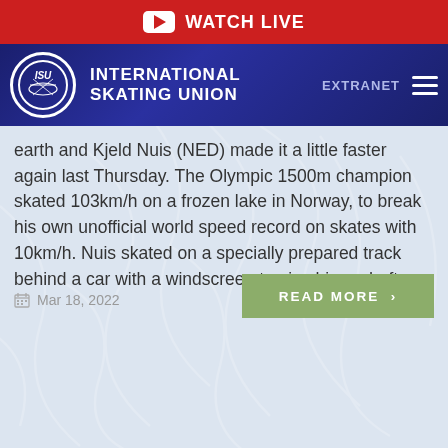WATCH LIVE
[Figure (logo): ISU International Skating Union logo with EXTRANET and hamburger menu navigation]
earth and Kjeld Nuis (NED) made it a little faster again last Thursday. The Olympic 1500m champion skated 103km/h on a frozen lake in Norway, to break his own unofficial world speed record on skates with 10km/h. Nuis skated on a specially prepared track behind a car with a windscreen to give him a draft.
Mar 18, 2022
READ MORE >